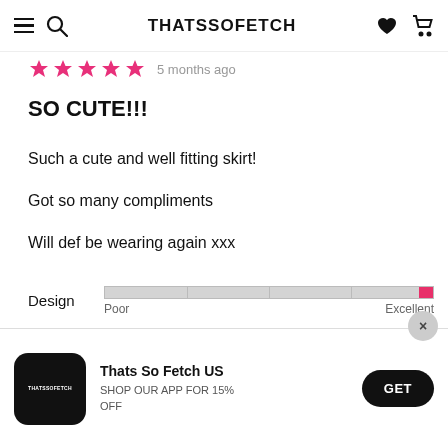THATSSOFETCH
5 months ago
SO CUTE!!!
Such a cute and well fitting skirt!
Got so many compliments
Will def be wearing again xxx
[Figure (infographic): Design rating bar: full bar track from Poor to Excellent with pink fill at the Excellent end]
[Figure (infographic): Quality rating bar: full bar track from Poor to Excellent with pink fill at the Excellent end]
Thats So Fetch US
SHOP OUR APP FOR 15% OFF